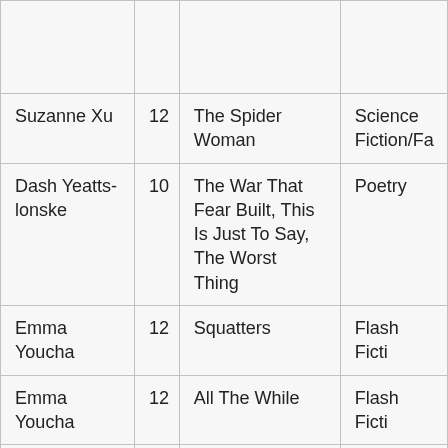| Author | Age | Title | Genre |
| --- | --- | --- | --- |
|  |  |  |  |
| Suzanne Xu | 12 | The Spider Woman | Science Fiction/Fa... |
| Dash Yeatts-lonske | 10 | The War That Fear Built, This Is Just To Say, The Worst Thing | Poetry |
| Emma Youcha | 12 | Squatters | Flash Ficti... |
| Emma Youcha | 12 | All The While | Flash Ficti... |
| Josephine Yu | 10 | The Room | Poetry |
| ... | ... | The Hi... | ... |